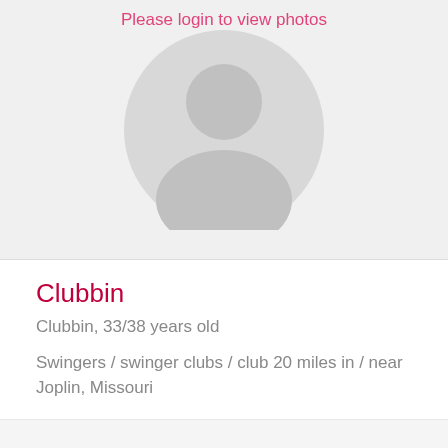[Figure (illustration): Gray placeholder avatar silhouette (person outline) inside a circle, with pink text overlay 'Please login to view photos' above the avatar on a light gray background]
Clubbin
Clubbin, 33/38 years old
Swingers / swinger clubs / club 20 miles in / near Joplin, Missouri